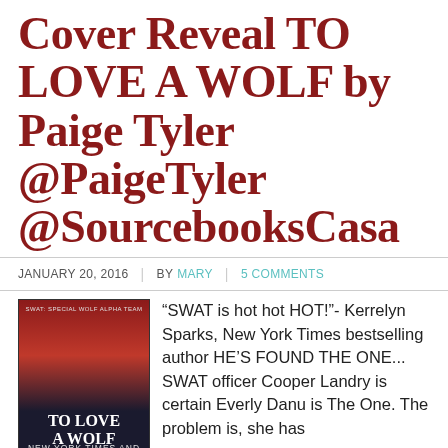Cover Reveal TO LOVE A WOLF by Paige Tyler @PaigeTyler @SourcebooksCasa
JANUARY 20, 2016 | BY MARY | 5 COMMENTS
[Figure (photo): Book cover of 'To Love A Wolf' by Paige Tyler, part of the SWAT: Special Wolf Alpha Team series. Shows a muscular man in tactical gear against a dramatic background.]
“SWAT is hot hot HOT!”- Kerrelyn Sparks, New York Times bestselling author HE’S FOUND THE ONE... SWAT officer Cooper Landry is certain Everly Danu is The One. The problem is, she has